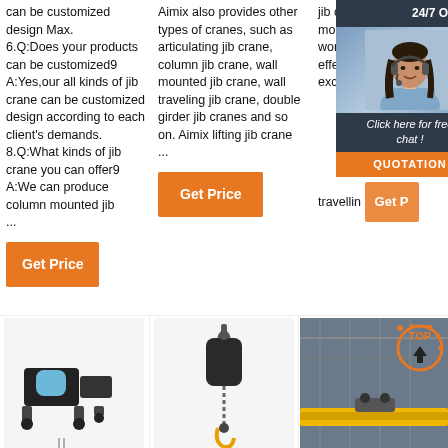can be customized design Max.
6.Q:Does your products can be customized9
A:Yes,our all kinds of jib crane can be customized design according to each client's demands.
8.Q:What kinds of jib crane you can offer9
A:We can produce column mounted jib ...
Aimix also provides other types of cranes, such as articulating jib crane, column jib crane, wall mounted jib crane, wall traveling jib crane, double girder jib cranes and so on. Aimix lifting jib crane ...
jib crane, flexible wall mounted jib crane, durable workstation jib crane, cost-effective simple jib crane, excellent travelling ...
Get Price
Get Price
Get Price
[Figure (infographic): Chat widget: 24/7 Online banner, woman with headset, 'Click here for free chat!' text, orange QUOTATION button]
[Figure (photo): Electric wire rope hoist with blue drum, black motor unit, industrial crane equipment]
[Figure (photo): Black electric chain hoist with yellow hook, hanging chain]
[Figure (photo): Overhead crane yellow beam in industrial warehouse, with orange TOP arrow badge overlay]